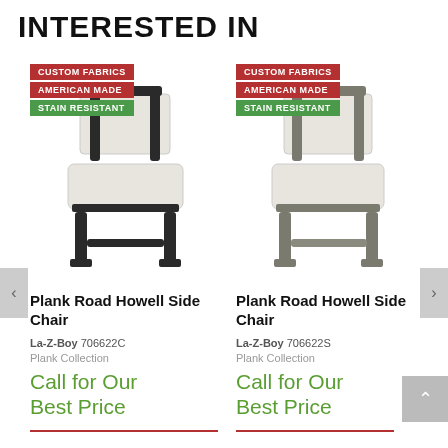INTERESTED IN
[Figure (photo): Plank Road Howell Side Chair with dark wood frame and cream upholstery, left product]
CUSTOM FABRICS
AMERICAN MADE
STAIN RESISTANT
Plank Road Howell Side Chair
La-Z-Boy 706622C
Plank Collection
Call for Our Best Price
[Figure (photo): Plank Road Howell Side Chair with grey wood frame and cream upholstery, right product]
CUSTOM FABRICS
AMERICAN MADE
STAIN RESISTANT
Plank Road Howell Side Chair
La-Z-Boy 706622S
Plank Collection
Call for Our Best Price